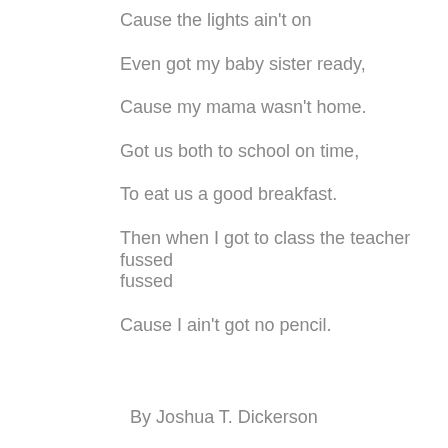Cause the lights ain't on

Even got my baby sister ready,

Cause my mama wasn't home.

Got us both to school on time,

To eat us a good breakfast.

Then when I got to class the teacher fussed

Cause I ain't got no pencil.
By Joshua T. Dickerson